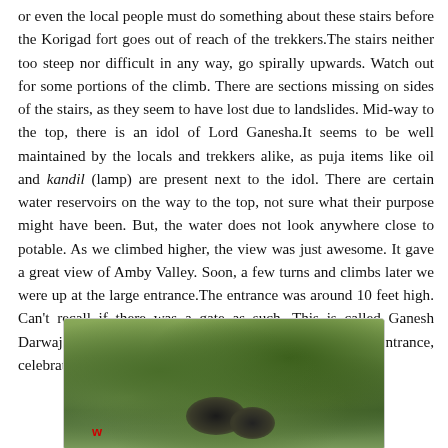or even the local people must do something about these stairs before the Korigad fort goes out of reach of the trekkers.The stairs neither too steep nor difficult in any way, go spirally upwards. Watch out for some portions of the climb. There are sections missing on sides of the stairs, as they seem to have lost due to landslides. Mid-way to the top, there is an idol of Lord Ganesha.It seems to be well maintained by the locals and trekkers alike, as puja items like oil and kandil (lamp) are present next to the idol. There are certain water reservoirs on the way to the top, not sure what their purpose might have been. But, the water does not look anywhere close to potable. As we climbed higher, the view was just awesome. It gave a great view of Amby Valley. Soon, a few turns and climbs later we were up at the large entrance.The entrance was around 10 feet high. Can't recall if there was a gate as such. This is called Ganesh Darwaja. However, we did capture some pics at the entrance, celebrating our efforts.
[Figure (photo): A photograph showing dense green grass and vegetation on a hillside, likely near Korigad fort. There is a red watermark letter 'w' visible at the bottom left of the image.]